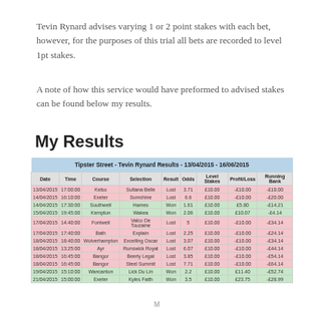Tevin Rynard advises varying 1 or 2 point stakes with each bet, however, for the purposes of this trial all bets are recorded to level 1pt stakes.
A note of how this service would have preformed to advised stakes can be found below my results.
My Results
| Date | Time | Course | Selection | Result | Odds | Level Stakes | Profit/Loss | Running Bank |
| --- | --- | --- | --- | --- | --- | --- | --- | --- |
| 13/04/2015 | 17:00:00 | Kelso | Sultana Belle | Lost | 3.71 | £10.00 | -£10.00 | -£10.00 |
| 14/04/2015 | 16:10:00 | Exeter | Somchine | Lost | 6.6 | £10.00 | -£10.00 | -£20.00 |
| 14/04/2015 | 17:30:00 | Southwell | Hames | Won | 1.61 | £10.00 | £5.80 | -£14.21 |
| 15/04/2015 | 19:45:00 | Kempton | Wakea | Won | 2.06 | £10.00 | £10.07 | -£4.14 |
| 17/04/2015 | 14:40:00 | Fontwell | Valco De Touzaine | Lost | 5 | £10.00 | -£10.00 | -£34.14 |
| 17/04/2015 | 17:40:00 | Bath | Explain | Lost | 2.25 | £10.00 | -£10.00 | -£24.14 |
| 18/04/2015 | 18:40:00 | Wolverhampton | Excelling Oscar | Lost | 3.07 | £10.00 | -£10.00 | -£34.14 |
| 18/04/2015 | 13:25:00 | Ayr | Runswick Royal | Lost | 6.07 | £10.00 | -£10.00 | -£44.14 |
| 18/04/2015 | 16:45:00 | Bangor | Beerly Legal | Lost | 3.85 | £10.00 | -£10.00 | -£54.14 |
| 18/04/2015 | 16:45:00 | Bangor | Steel Summit | Lost | 7.71 | £10.00 | -£10.00 | -£64.14 |
| 19/04/2015 | 15:10:00 | Wancanton | Lick Du Lin | Won | 2.2 | £10.00 | £11.40 | -£52.74 |
| 21/04/2015 | 15:00:00 | Exeter | Kyles Faith | Won | 3.5 | £10.00 | £23.75 | -£28.99 |
M